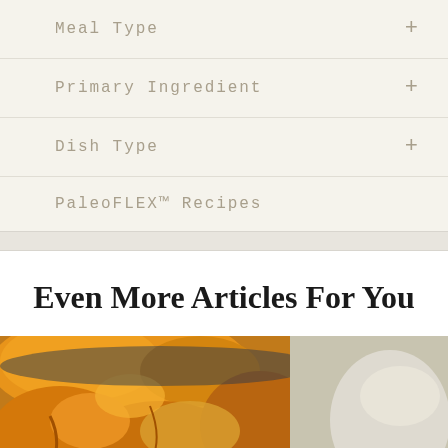Meal Type
Primary Ingredient
Dish Type
PaleoFLEX™ Recipes
Even More Articles For You
[Figure (photo): Food image showing glazed/sauced meat pieces in a dark bowl, partially cropped, with overlaid text reading 't to Eat This W' (part of a longer title cut off at edges)]